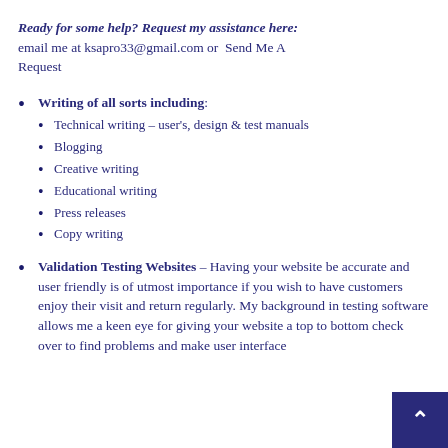Ready for some help? Request my assistance here: email me at ksapro33@gmail.com or Send Me A Request
Writing of all sorts including:
Technical writing – user's, design & test manuals
Blogging
Creative writing
Educational writing
Press releases
Copy writing
Validation Testing Websites – Having your website be accurate and user friendly is of utmost importance if you wish to have customers enjoy their visit and return regularly. My background in testing software allows me a keen eye for giving your website a top to bottom check over to find problems and make user interface